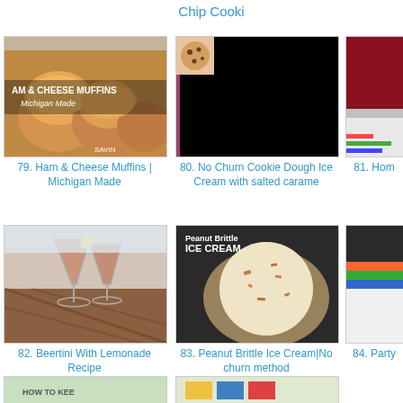Chip Cooki
[Figure (photo): Ham & Cheese Muffins food photo with text overlay 'AM & CHEESE MUFFINS Michigan Made' and 'SAVING']
79. Ham & Cheese Muffins | Michigan Made
[Figure (photo): No Churn Cookie Dough Ice Cream - mostly black image with small cookie image in top left corner]
80. No Churn Cookie Dough Ice Cream with salted carame
[Figure (photo): Partially visible image on right side - cut off]
81. Hom
[Figure (photo): Beertini With Lemonade Recipe - two martini glasses with pink/brown cocktail and lemon slice garnish]
82. Beertini With Lemonade Recipe
[Figure (photo): Peanut Brittle Ice Cream - scoop of vanilla ice cream with brittle pieces, text 'Peanut Brittle ICE CREAM']
83. Peanut Brittle Ice Cream|No churn method
[Figure (photo): Partially visible image on right side - cut off]
84. Party
[Figure (photo): Partially visible bottom image left - HOW TO KEE]
[Figure (photo): Partially visible bottom image center]